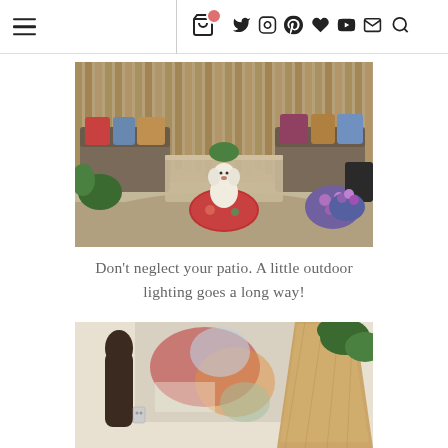Navigation bar with hamburger menu, cart icon with badge, and social icons: Twitter, Instagram, Pinterest, heart, YouTube, email, search
[Figure (photo): Outdoor boho patio seating area with sofas, colorful pillows, a coffee table, plants, purple flowers, and a white poodle sitting on a red floral floor cushion on gravel]
Don’t neglect your patio. A little outdoor lighting goes a long way!
[Figure (photo): Interior scene with a dark wooden sculptural figure, an abstract colorful painting on the wall, a large warm-toned lamp shade, and green foliage]